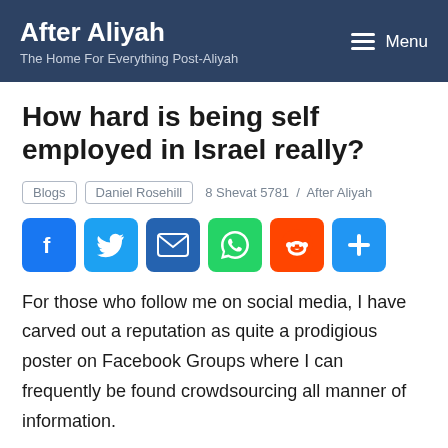After Aliyah — The Home For Everything Post-Aliyah
How hard is being self employed in Israel really?
Blogs  Daniel Rosehill  8 Shevat 5781 / After Aliyah
[Figure (infographic): Social media share buttons: Facebook, Twitter, Email, WhatsApp, Reddit, Share]
For those who follow me on social media, I have carved out a reputation as quite a prodigious poster on Facebook Groups where I can frequently be found crowdsourcing all manner of information.